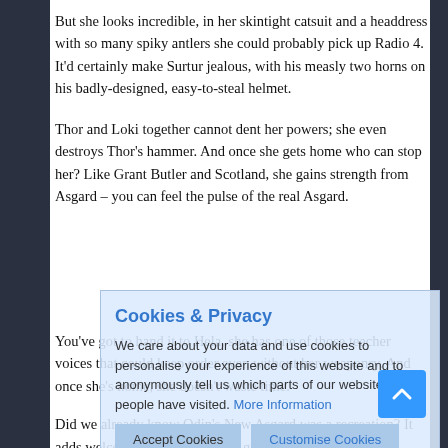But she looks incredible, in her skintight catsuit and a headdress with so many spiky antlers she could probably pick up Radio 4. It'd certainly make Surtur jealous, with his measly two horns on his badly-designed, easy-to-steal helmet.
Thor and Loki together cannot dent her powers; she even destroys Thor's hammer. And once she gets home who can stop her? Like Grant Butler and Scotland, she gains strength from Asgard – you can feel the pulse of the real Asgard.
[Figure (other): Cookie & Privacy consent overlay banner with title 'Cookies & Privacy', body text about data and cookies, a 'More Information' link, 'Accept Cookies' and 'Customise Cookies' buttons]
You've got to hand it to Hela, she has one of those teacher voices that could keep order even without her weaponry. And once she's home, she doesn't waste time.
Did we already know Odin's New Asgard was a recreation? It adds welcome depth when Hela goes through her palace uncovering ancient murals which tell her story as it was.